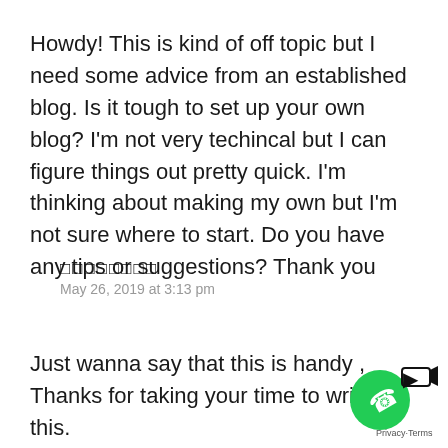Howdy! This is kind of off topic but I need some advice from an established blog. Is it tough to set up your own blog? I'm not very techincal but I can figure things out pretty quick. I'm thinking about making my own but I'm not sure where to start. Do you have any tips or suggestions? Thank you
□□□□□□□□
May 26, 2019 at 3:13 pm
Just wanna say that this is handy , Thanks for taking your time to write this.
[Figure (other): Green circular phone/call widget button with video camera icon, and Privacy/Terms label]